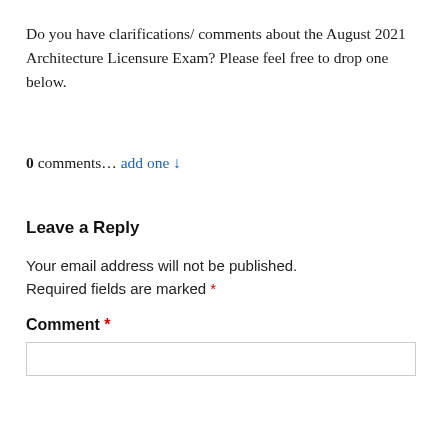Do you have clarifications/ comments about the August 2021 Architecture Licensure Exam? Please feel free to drop one below.
0 comments… add one ↓
Leave a Reply
Your email address will not be published. Required fields are marked *
Comment *